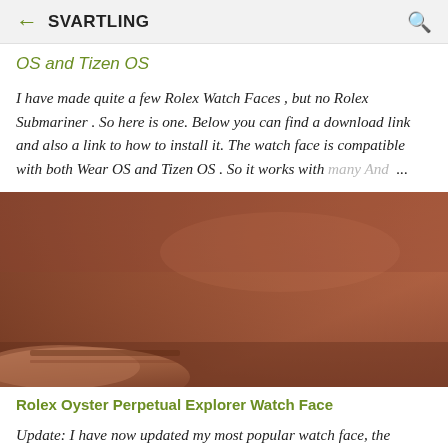SVARTLING
OS and Tizen OS
I have made quite a few Rolex Watch Faces , but no Rolex Submariner . So here is one. Below you can find a download link and also a link to how to install it. The watch face is compatible with both Wear OS and Tizen OS . So it works with many And ...
[Figure (photo): Close-up photo of a brown leather watch strap or wristband on a wrist, warm reddish-brown tones]
Rolex Oyster Perpetual Explorer Watch Face
Update: I have now updated my most popular watch face, the